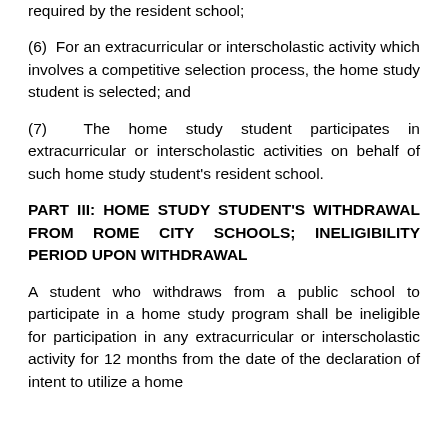required by the resident school;
(6)  For an extracurricular or interscholastic activity which involves a competitive selection process, the home study student is selected; and
(7)  The home study student participates in extracurricular or interscholastic activities on behalf of such home study student's resident school.
PART III: HOME STUDY STUDENT'S WITHDRAWAL FROM ROME CITY SCHOOLS; INELIGIBILITY PERIOD UPON WITHDRAWAL
A student who withdraws from a public school to participate in a home study program shall be ineligible for participation in any extracurricular or interscholastic activity for 12 months from the date of the declaration of intent to utilize a home